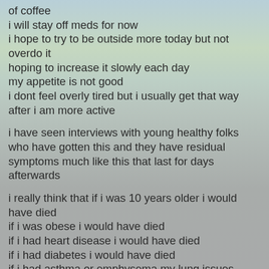of coffee
i will stay off meds for now
i hope to try to be outside more today but not overdo it
hoping to increase it slowly each day
my appetite is not good
i dont feel overly tired but i usually get that way after i am more active
i have seen interviews with young healthy folks who have gotten this and they have residual symptoms much like this that last for days afterwards
i really think that if i was 10 years older i would have died
if i was obese i would have died
if i had heart disease i would have died
if i had diabetes i would have died
if i had asthma or emphysema my lung issues would have worsened
i might have died
if i was immunosuppressed i would have died
i have a high respect for how contagious this virus is